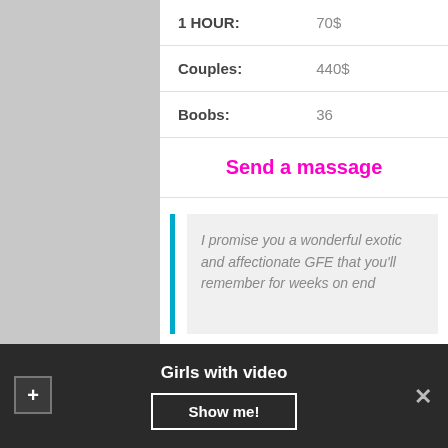| 1 HOUR: | 70$ |
| Couples: | 440$ |
| Boobs: | 36 |
Send a massage
I promise you a wonderful exotic and affectionate GFE that you'll remember for weeks on end
Diana
[Figure (photo): Partial photo of a person against a stone/brick wall background]
Girls with video
Show me!